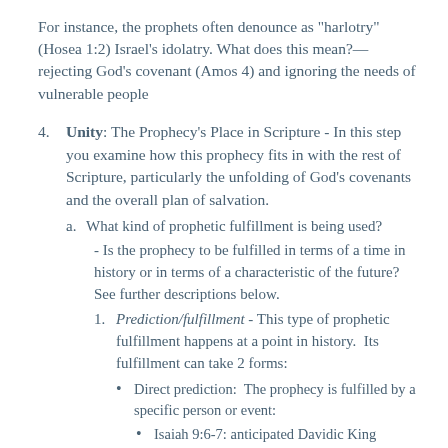For instance, the prophets often denounce as "harlotry" (Hosea 1:2) Israel's idolatry. What does this mean?—rejecting God's covenant (Amos 4) and ignoring the needs of vulnerable people
4. Unity: The Prophecy's Place in Scripture - In this step you examine how this prophecy fits in with the rest of Scripture, particularly the unfolding of God's covenants and the overall plan of salvation.
a. What kind of prophetic fulfillment is being used?
- Is the prophecy to be fulfilled in terms of a time in history or in terms of a characteristic of the future? See further descriptions below.
1. Prediction/fulfillment - This type of prophetic fulfillment happens at a point in history.  Its fulfillment can take 2 forms:
Direct prediction:  The prophecy is fulfilled by a specific person or event:
Isaiah 9:6-7: anticipated Davidic King Messiah